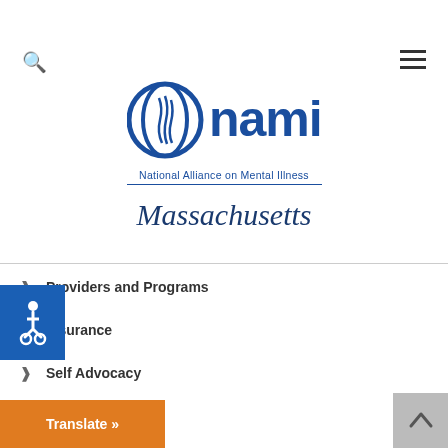[Figure (logo): NAMI - National Alliance on Mental Illness logo with circular icon and blue lettering]
Massachusetts
Providers and Programs
Insurance
Self Advocacy
Financial
Housing
Employment
on and Transition